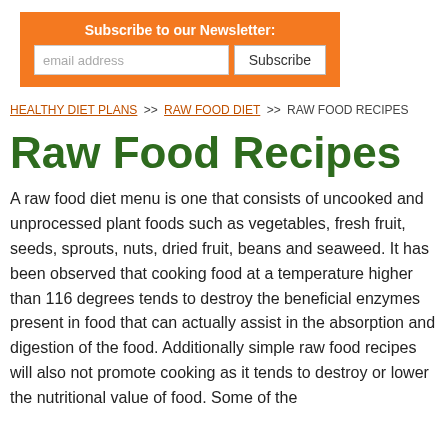[Figure (other): Orange newsletter subscription box with email address input and Subscribe button]
HEALTHY DIET PLANS >> RAW FOOD DIET >> RAW FOOD RECIPES
Raw Food Recipes
A raw food diet menu is one that consists of uncooked and unprocessed plant foods such as vegetables, fresh fruit, seeds, sprouts, nuts, dried fruit, beans and seaweed. It has been observed that cooking food at a temperature higher than 116 degrees tends to destroy the beneficial enzymes present in food that can actually assist in the absorption and digestion of the food. Additionally simple raw food recipes will also not promote cooking as it tends to destroy or lower the nutritional value of food. Some of the